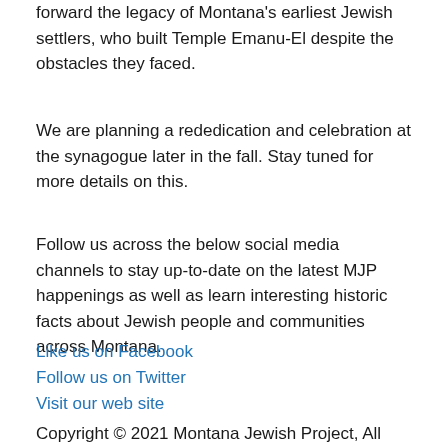forward the legacy of Montana's earliest Jewish settlers, who built Temple Emanu-El despite the obstacles they faced.
We are planning a rededication and celebration at the synagogue later in the fall. Stay tuned for more details on this.
Follow us across the below social media channels to stay up-to-date on the latest MJP happenings as well as learn interesting historic facts about Jewish people and communities across Montana.
Like us on Facebook
Follow us on Twitter
Visit our web site
Copyright © 2021 Montana Jewish Project, All rights reserved.